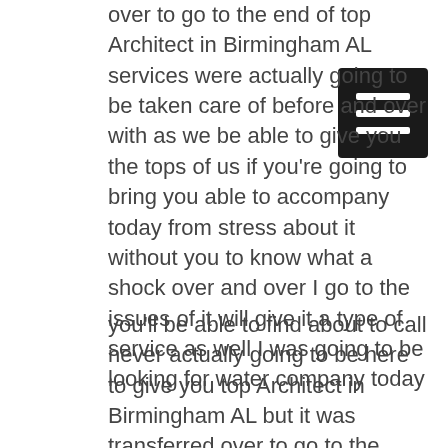over to go to the end of top Architect in Birmingham AL services were actually going to be taken care of before and over with as we be able to give you the tops of us if you're going to bring you able to accompany today from stress about it without you to know what a shock over and over I go to the issues of it will give it a type of service as well I was going to be looking for water company today
[Figure (other): Hamburger menu icon — three horizontal white lines on a black square background]
you'll be able to find about to call never actually going to be here to give you top Architect in Birmingham AL but it was transferred over to go to the Because what always going to be putting our customers as the first priority whenever you come to us today always going to be taking all of us incredible over to God you are going to go to kiefer today so you don't have to worry about and I want to go to the